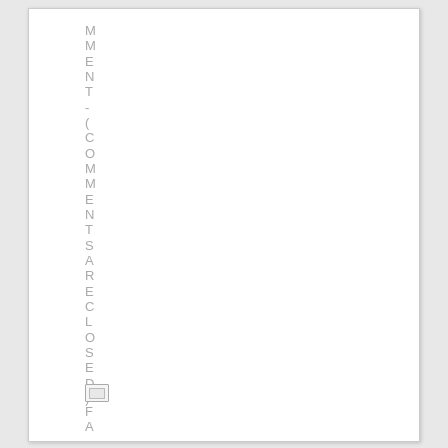MMENT-(COMMENTS ARE CLOSED)
[Figure (other): Small document/file icon]
FA